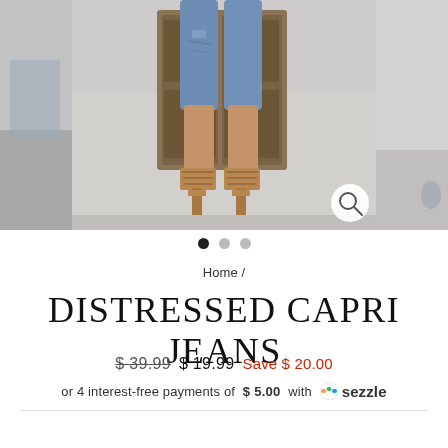[Figure (photo): Product photo showing lower body of model wearing distressed capri jeans and tan strappy heeled sandals, standing in front of a wooden door. Two partial images visible on left and right sides.]
• • •
Home /
DISTRESSED CAPRI JEANS
$ 39.99  $ 19.99  Save $ 20.00
or 4 interest-free payments of $ 5.00 with  sezzle
Rewards